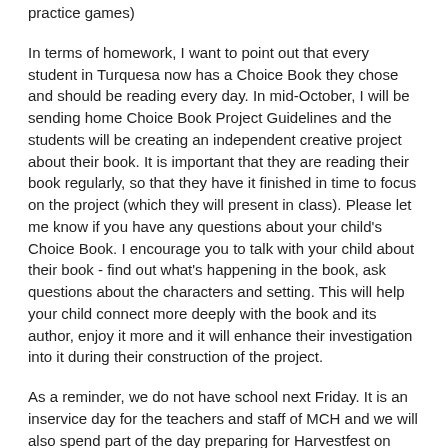practice games)
In terms of homework, I want to point out that every student in Turquesa now has a Choice Book they chose and should be reading every day. In mid-October, I will be sending home Choice Book Project Guidelines and the students will be creating an independent creative project about their book. It is important that they are reading their book regularly, so that they have it finished in time to focus on the project (which they will present in class). Please let me know if you have any questions about your child's Choice Book. I encourage you to talk with your child about their book - find out what's happening in the book, ask questions about the characters and setting. This will help your child connect more deeply with the book and its author, enjoy it more and it will enhance their investigation into it during their construction of the project.
As a reminder, we do not have school next Friday. It is an inservice day for the teachers and staff of MCH and we will also spend part of the day preparing for Harvestfest on Sat., Sept. 28. I hope you can make it to Harvestfest! It's a fun all-school fall party with a carnival atmosphere.
Ms. Jessie and Mr. Ben wrote a lovely update for the Morado families and we wanted to share the same for our families with some modifications.